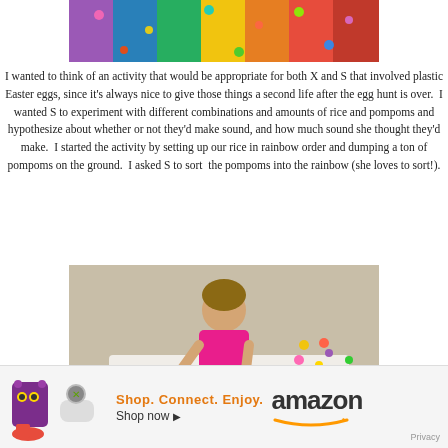[Figure (photo): Overhead view of rainbow-colored rice and pompoms arranged in rainbow order in a flat container]
I wanted to think of an activity that would be appropriate for both X and S that involved plastic Easter eggs, since it's always nice to give those things a second life after the egg hunt is over.  I wanted S to experiment with different combinations and amounts of rice and pompoms and hypothesize about whether or not they'd make sound, and how much sound she thought they'd make.  I started the activity by setting up our rice in rainbow order and dumping a ton of pompoms on the ground.  I asked S to sort  the pompoms into the rainbow (she loves to sort!).
[Figure (photo): Overhead photo of a young child sorting colorful pompoms into a clear plastic container filled with rainbow-colored rice sections on a white sheet on the floor]
Shop.  Connect.  Enjoy.   amazon
Shop now ▶
Privacy